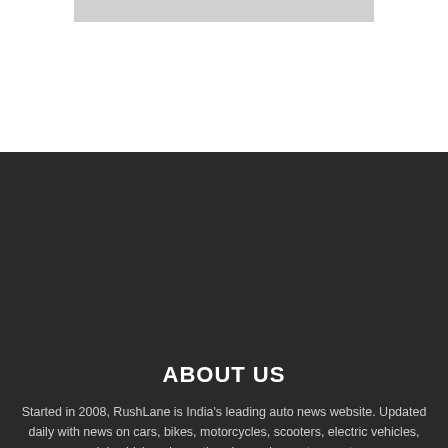[Figure (other): Light gray horizontal banner/image placeholder at top of page]
ABOUT US
Started in 2008, RushLane is India's leading auto news website. Updated daily with news on cars, bikes, motorcycles, scooters, electric vehicles, commercial vehicles, domestic sales and exports report, scoops, exclusive spy shots, as well as detailed reviews by experts.
Whatsapp : +91-9925463475 Email : admin@rushlane.com